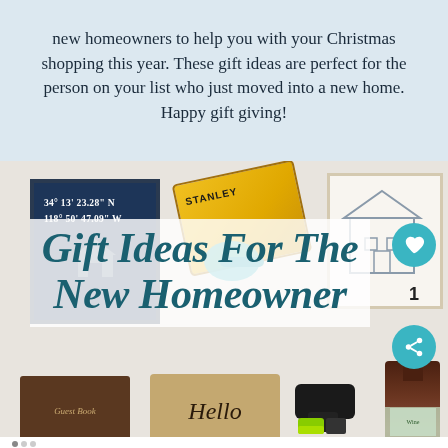new homeowners to help you with your Christmas shopping this year. These gift ideas are perfect for the person on your list who just moved into a new home. Happy gift giving!
[Figure (photo): Collage of gift ideas for new homeowners including coordinate art print, Stanley toolbox, teal iron, house portrait, guest book, hello doormat, Ryobi tool, and wine bottle. Overlaid with title text 'Gift Ideas For The New Homeowner' in teal italic font.]